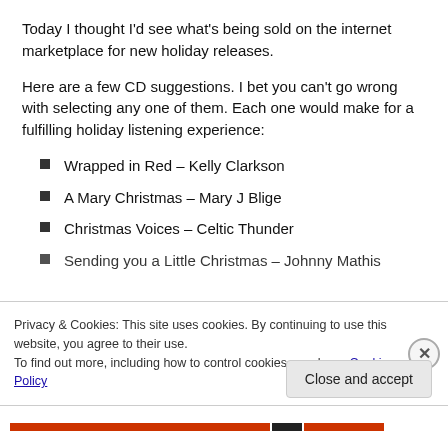Today I thought I'd see what's being sold on the internet marketplace for new holiday releases.
Here are a few CD suggestions. I bet you can't go wrong with selecting any one of them. Each one would make for a fulfilling holiday listening experience:
Wrapped in Red – Kelly Clarkson
A Mary Christmas – Mary J Blige
Christmas Voices  – Celtic Thunder
Sending you a Little Christmas – Johnny Mathis
Privacy & Cookies: This site uses cookies. By continuing to use this website, you agree to their use.
To find out more, including how to control cookies, see here: Cookie Policy